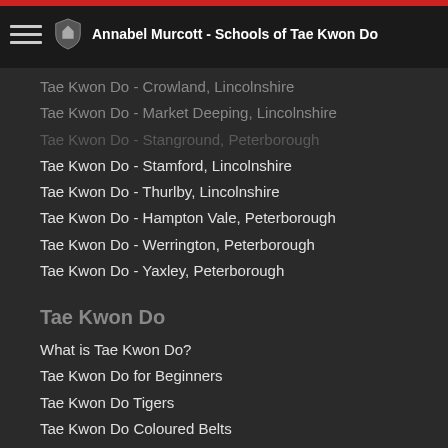Annabel Murcott - Schools of Tae Kwon Do
Tae Kwon Do - Crowland, Lincolnshire
Tae Kwon Do - Market Deeping, Lincolnshire
Tae Kwon Do - Stanground, Peterborough
Tae Kwon Do - Stamford, Lincolnshire
Tae Kwon Do - Thurlby, Lincolnshire
Tae Kwon Do - Hampton Vale, Peterborough
Tae Kwon Do - Werrington, Peterborough
Tae Kwon Do - Yaxley, Peterborough
Tae Kwon Do
What is Tae Kwon Do?
Tae Kwon Do for Beginners
Tae Kwon Do Tigers
Tae Kwon Do Coloured Belts
Tae Kwon Do Black Belts
Tae Kwon Do Instructors
Tae Kwon Do for Schools
Self Defence Classes
Admin